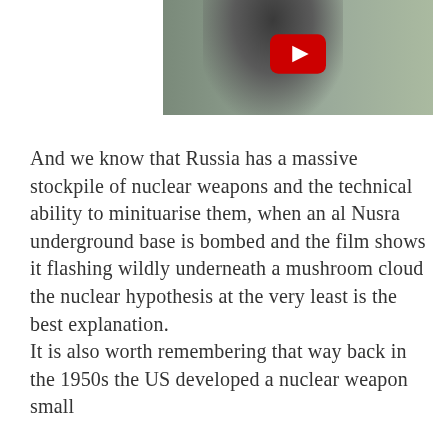[Figure (screenshot): A YouTube video thumbnail showing a dark smoke plume or mushroom cloud with a red YouTube play button overlay. The background shows trees and sky with heavy smoke.]
And we know that Russia has a massive stockpile of nuclear weapons and the technical ability to minituarise them, when an al Nusra underground base is bombed and the film shows it flashing wildly underneath a mushroom cloud the nuclear hypothesis at the very least is the best explanation.
It is also worth remembering that way back in the 1950s the US developed a nuclear weapon small